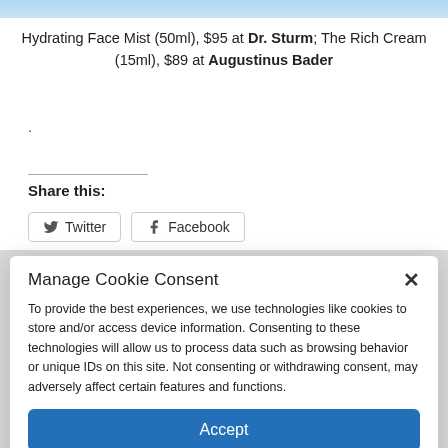[Figure (photo): Top strip of a product/beauty image, cropped]
Hydrating Face Mist (50ml), $95 at Dr. Sturm; The Rich Cream (15ml), $89 at Augustinus Bader
.
Share this:
[Figure (screenshot): Twitter and Facebook share buttons]
Manage Cookie Consent
To provide the best experiences, we use technologies like cookies to store and/or access device information. Consenting to these technologies will allow us to process data such as browsing behavior or unique IDs on this site. Not consenting or withdrawing consent, may adversely affect certain features and functions.
Accept
Cookie Policy